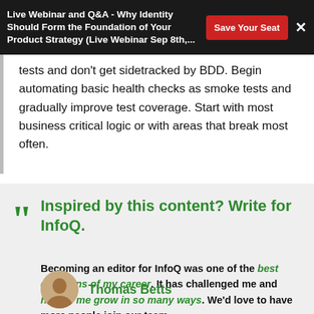Live Webinar and Q&A - Why Identity Should Form the Foundation of Your Product Strategy (Live Webinar Sep 8th,...
tests and don’t get sidetracked by BDD. Begin automating basic health checks as smoke tests and gradually improve test coverage. Start with most business critical logic or with areas that break most often.
Inspired by this content? Write for InfoQ.
Becoming an editor for InfoQ was one of the best decisions of my career. It has challenged me and helped me grow in so many ways. We’d love to have more people join our team.
Thomas Betts